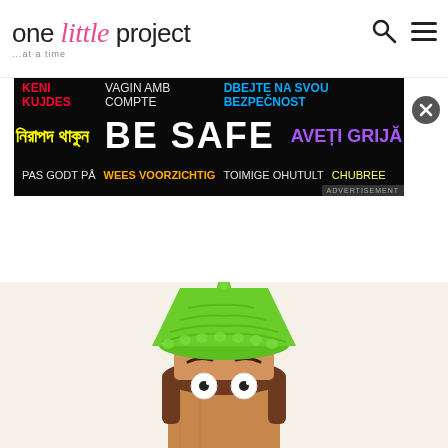one little project ...at a time
[Figure (screenshot): BE SAFE advertisement banner with multilingual safety text on dark background]
[Figure (photo): A pencil craft figure wearing a bright green crocheted/yarn knit hat with googly eyes and brown hair, on a light cream background]